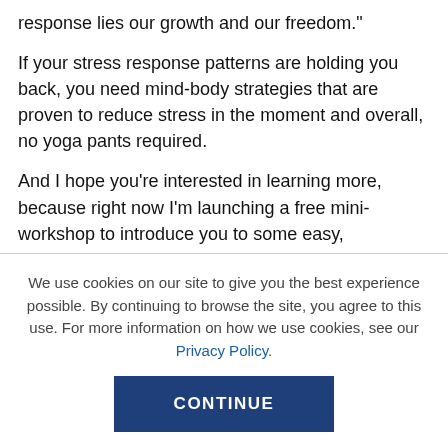response lies our growth and our freedom."

If your stress response patterns are holding you back, you need mind-body strategies that are proven to reduce stress in the moment and overall, no yoga pants required.

And I hope you’re interested in learning more, because right now I’m launching a free mini-workshop to introduce you to some easy, approachable strategies for stress reduction.
We use cookies on our site to give you the best experience possible. By continuing to browse the site, you agree to this use. For more information on how we use cookies, see our Privacy Policy.
CONTINUE